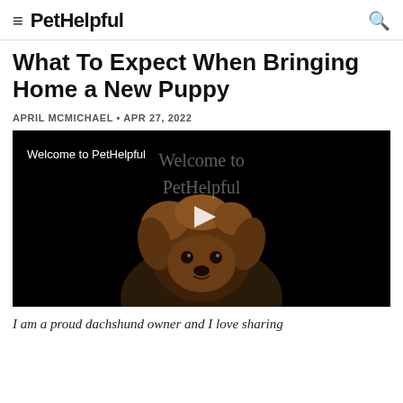≡ PetHelpful 🔍
What To Expect When Bringing Home a New Puppy
APRIL MCMICHAEL • APR 27, 2022
[Figure (screenshot): Video thumbnail showing a Yorkshire Terrier dog on a black background with text 'Welcome to PetHelpful' and a play button overlay]
I am a proud dachshund owner and I love sharing